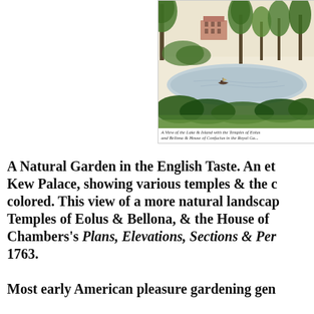[Figure (illustration): Hand-colored etching of Kew Palace gardens showing a lake with a boat, trees, and a building in the background — a naturalistic English landscape garden view.]
A View of the Lake & Island with the Temples of Eolus and Bellona & House of Confucius in the Royal Gardens
A Natural Garden in the English Taste. An etching of Kew Palace, showing various temples & the gardens, hand-colored. This view of a more natural landscape shows the Temples of Eolus & Bellona, & the House of Confucius. From Chambers's Plans, Elevations, Sections & Perspectives. 1763.
Most early American pleasure gardening gen...